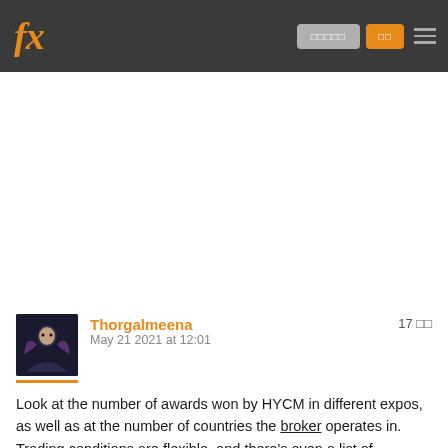fx [logo] | [nav buttons]
[Figure (other): White empty content area / advertisement placeholder]
Thorgalmeena
May 21 2021 at 12:01
17 [votes]
Look at the number of awards won by HYCM in different expos, as well as at the number of countries the broker operates in. Trading conditions are flexible, and there's even a list of questions, answering which a trader can get a better understanding of his needs. Pleasure to be here.